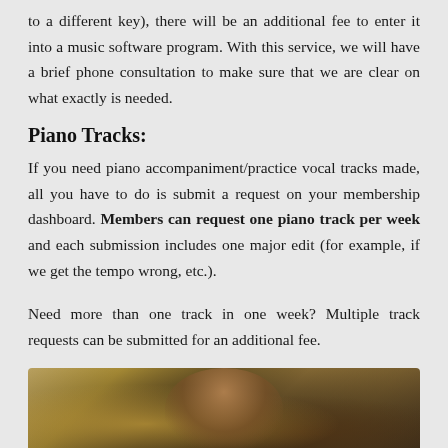to a different key), there will be an additional fee to enter it into a music software program. With this service, we will have a brief phone consultation to make sure that we are clear on what exactly is needed.
Piano Tracks:
If you need piano accompaniment/practice vocal tracks made, all you have to do is submit a request on your membership dashboard. Members can request one piano track per week and each submission includes one major edit (for example, if we get the tempo wrong, etc.).
Need more than one track in one week? Multiple track requests can be submitted for an additional fee.
[Figure (photo): A partial photo at the bottom of the page showing a person, with warm golden and brown tones suggesting an ornate or musical setting.]